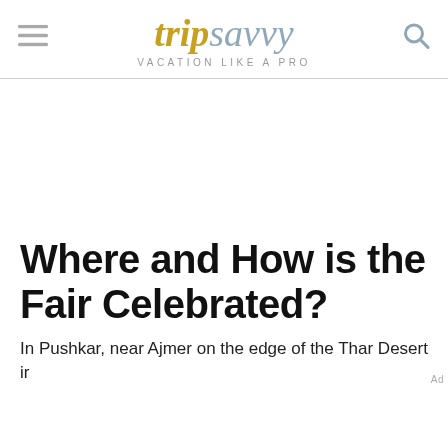tripsavvy VACATION LIKE A PRO
Where and How is the Fair Celebrated?
In Pushkar, near Ajmer on the edge of the Thar Desert in